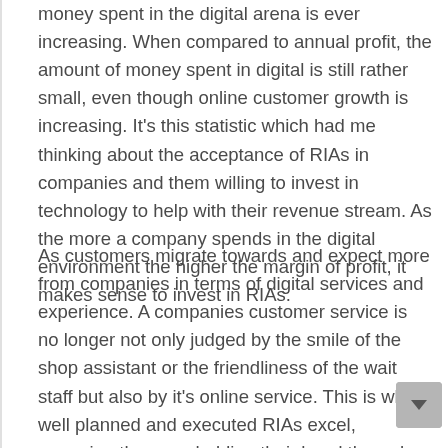money spent in the digital arena is ever increasing. When compared to annual profit, the amount of money spent in digital is still rather small, even though online customer growth is increasing. It's this statistic which had me thinking about the acceptance of RIAs in companies and them willing to invest in technology to help with their revenue stream. As the more a company spends in the digital environment the higher the margin of profit, it makes sense to invest in RIAs.
As customers migrate towards and expect more from companies in terms of digital services and experience. A companies customer service is no longer not only judged by the smile of the shop assistant or the friendliness of the wait staff but also by it's online service. This is where well planned and executed RIAs excel, engaging the user, holding their hand through a complex task, giving them the information when they want it without hassle. The RIA doesn't call in sick, steal money from the till or wake up on the wrong side of the